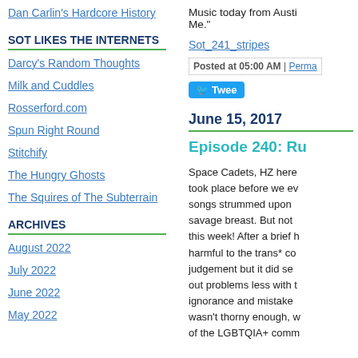Dan Carlin's Hardcore History
SOT LIKES THE INTERNETS
Darcy's Random Thoughts
Milk and Cuddles
Rosserford.com
Spun Right Round
Stitchify
The Hungry Ghosts
The Squires of The Subterrain
ARCHIVES
August 2022
July 2022
June 2022
May 2022
Music today from Austi... Me."
Sot_241_stripes
Posted at 05:00 AM | Perma...
Tweet
June 15, 2017
Episode 240: Ru...
Space Cadets, HZ here... took place before we ev... songs strummed upon ... savage breast. But not ... this week! After a brief h... harmful to the trans* co... judgement but it did see... out problems less with ... ignorance and mistake... wasn't thorny enough, w... of the LGBTQIA+ comm...